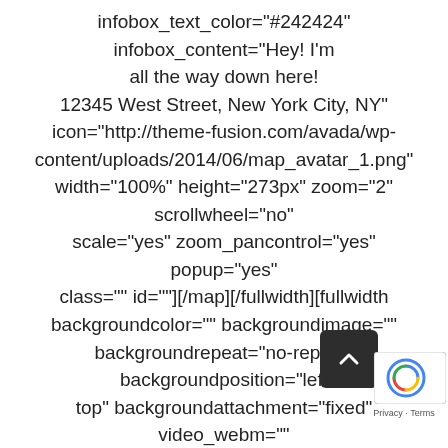infobox_text_color="#242424" infobox_content="Hey! I'm all the way down here! 12345 West Street, New York City, NY" icon="http://theme-fusion.com/avada/wp-content/uploads/2014/06/map_avatar_1.png" width="100%" height="273px" zoom="2" scrollwheel="no" scale="yes" zoom_pancontrol="yes" popup="yes" class="" id=""][/map][/fullwidth][fullwidth backgroundcolor="" backgroundimage="" backgroundrepeat="no-repeat" backgroundposition="left top" backgroundattachment="fixed" video_webm="" video_mp4="" video_ogv="" video_preview_image="" overlay_color="" overlay_opacity="0.5" video_mute="yes" video_loop="yes" fade="no" bordersize="0px" bordercolor="" borderstyle="solid" paddingtop="0px" paddingbottom="0px" paddingleft="0px" paddingright="0px" menu_anchor="" equal_height_columns="no" hundred_percent="" class="" id=""][one_full last="yes" spacing="yes"